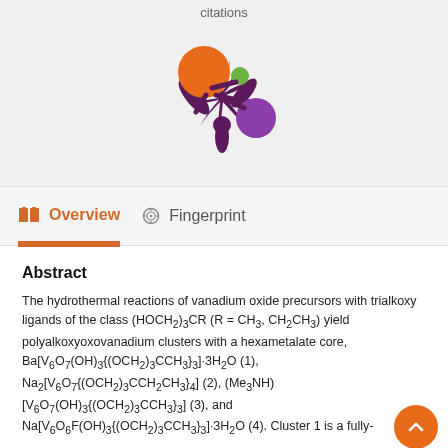citations
[Figure (logo): Stylized logo with orange circle, small green circle, and purple circle connected by dark purple curved lines resembling a molecular or network motif]
Overview   Fingerprint
Abstract
The hydrothermal reactions of vanadium oxide precursors with trialkoxy ligands of the class (HOCH2)3CR (R = CH3, CH2CH3) yield polyalkoxyoxovanadium clusters with a hexametalate core, Ba[V6O7(OH)3{(OCH2)3CCH3}3]·3H2O (1), Na2[V6O7{(OCH2)3CCH2CH3}4] (2), (Me3NH) [V6O7(OH)3{(OCH2)3CCH3}3] (3), and Na[V6O6F(OH)3{(OCH2)3CCH3}3]·3H2O (4). Cluster 1 is a fully-